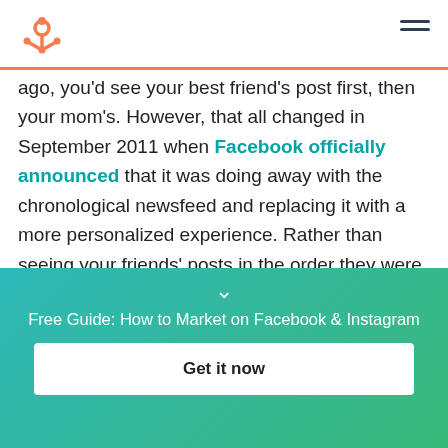HubSpot logo and navigation menu
ago, you'd see your best friend's post first, then your mom's. However, that all changed in September 2011 when Facebook officially announced that it was doing away with the chronological newsfeed and replacing it with a more personalized experience. Rather than seeing your friends' posts in the order they were shared, you now see the content Facebook's algorithm thinks you'll enjoy the most. This newsfeed is still updated...
Free Guide: How to Market on Facebook & Instagram
Get it now